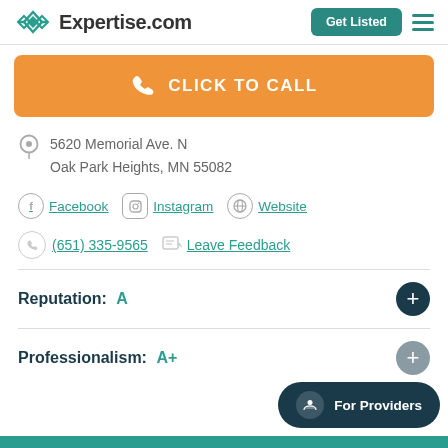Expertise.com | Get Listed
CLICK TO CALL
5620 Memorial Ave. N
Oak Park Heights, MN 55082
Facebook | Instagram | Website
(651) 335-9565 | Leave Feedback
Reputation: A
Professionalism: A+